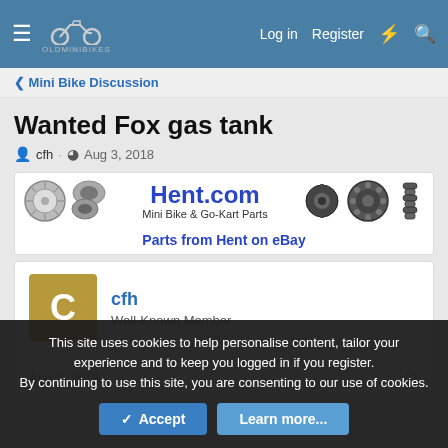OldMiniBikes — Log in  Register
Mini Bike Discussion
Wanted Fox gas tank
cfh · Aug 3, 2018
[Figure (advertisement): Hent.com Mini Bike & Go-Kart Parts banner ad with gear and wheel photos. Parts from Hent on eBay link below.]
cfh
Well-Known Member
Aug 3, 2018   #1
This site uses cookies to help personalise content, tailor your experience and to keep you logged in if you register.
By continuing to use this site, you are consenting to our use of cookies.